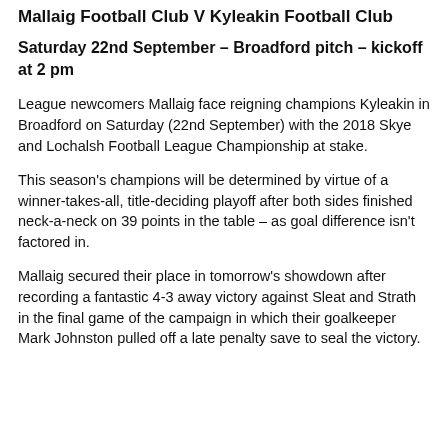Mallaig Football Club V Kyleakin Football Club
Saturday 22nd September – Broadford pitch – kickoff at 2 pm
League newcomers Mallaig face reigning champions Kyleakin in Broadford on Saturday (22nd September) with the 2018 Skye and Lochalsh Football League Championship at stake.
This season's champions will be determined by virtue of a winner-takes-all, title-deciding playoff after both sides finished neck-a-neck on 39 points in the table – as goal difference isn't factored in.
Mallaig secured their place in tomorrow's showdown after recording a fantastic 4-3 away victory against Sleat and Strath in the final game of the campaign in which their goalkeeper Mark Johnston pulled off a late penalty save to seal the victory.